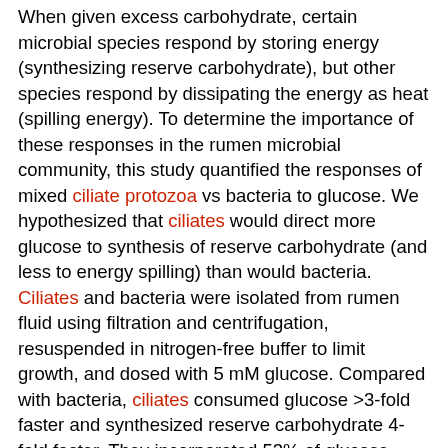When given excess carbohydrate, certain microbial species respond by storing energy (synthesizing reserve carbohydrate), but other species respond by dissipating the energy as heat (spilling energy). To determine the importance of these responses in the rumen microbial community, this study quantified the responses of mixed ciliate protozoa vs bacteria to glucose. We hypothesized that ciliates would direct more glucose to synthesis of reserve carbohydrate (and less to energy spilling) than would bacteria. Ciliates and bacteria were isolated from rumen fluid using filtration and centrifugation, resuspended in nitrogen-free buffer to limit growth, and dosed with 5 mM glucose. Compared with bacteria, ciliates consumed glucose >3-fold faster and synthesized reserve carbohydrate 4-fold faster. They incorporated 53% of glucose carbon into reserve carbohydrate-nearly double the value (27%) for bacteria. Energy spilling was not detected for ciliates, as all heat production (104%) was accounted by synthesis of reserve carbohydrate and endogenous metabolism. For bacteria, reserve carbohydrate and endogenous metabolism accounted for only 68% of heat production, and spilling was detected within 11 min of dosing glucose. These results suggest that ciliates alter the course of ruminal carbohydrate metabolism by outcompeting bacteria for excess carbohydrate, maximizing